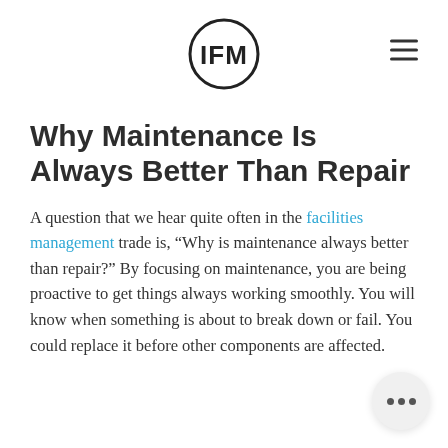IFM logo and navigation menu
Why Maintenance Is Always Better Than Repair
A question that we hear quite often in the facilities management trade is, “Why is maintenance always better than repair?” By focusing on maintenance, you are being proactive to get things always working smoothly. You will know when something is about to break down or fail. You could replace it before other components are affected.